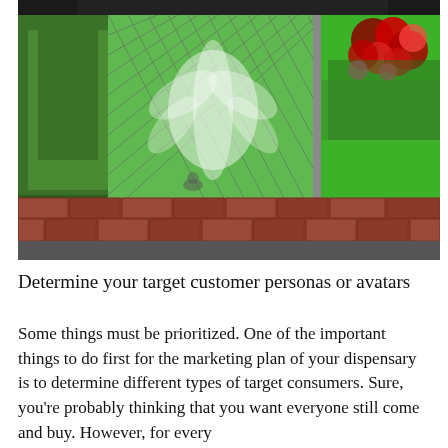[Figure (photo): Outdoor scene showing a bright green painted wall and green chain-link fence gate with a marijuana leaf motif visible through the fence. Red flowers/roses grow on the right side. A low red brick border runs along the bottom. The ground is wet pavement. Trees and bushes are visible on the left.]
Determine your target customer personas or avatars
Some things must be prioritized. One of the important things to do first for the marketing plan of your dispensary is to determine different types of target consumers. Sure, you're probably thinking that you want everyone still come and buy. However, for every...